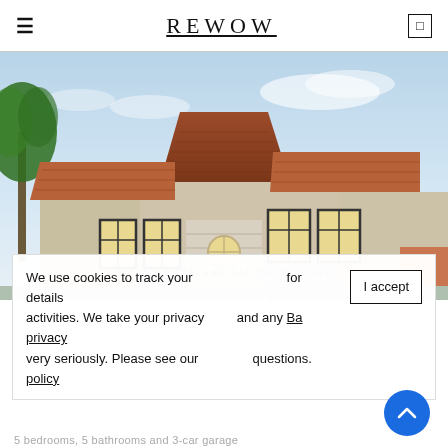REWOW
[Figure (photo): Exterior of a Mediterranean-style home with terracotta tile roof, stucco walls, black-framed windows, and palm trees in background. White garage door with circular window in center.]
12315 N PARKLAND BAY TR (WILLOW)
12315 N Parkland Bay Tr (Willow) — A home with
(Willow) | Willow | 4328 sq. ft. | A home with
We use cookies to track your  for details activities. We take your privacy  and any privacy  questions.  very seriously. Please see our  policy
5 bedrooms, 5 bathrooms and 3-car garage